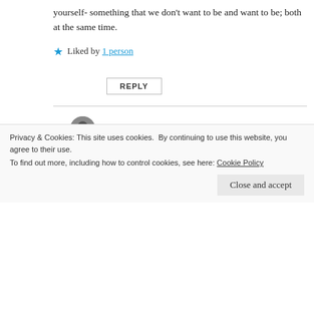yourself- something that we don't want to be and want to be; both at the same time.
★ Liked by 1 person
REPLY
Watt
May 31, 2020 at 5:01 pm
Often the things we want are the things that don't want us, I feel it's always an exchange of energy between every moment in our lives.
Privacy & Cookies: This site uses cookies. By continuing to use this website, you agree to their use.
To find out more, including how to control cookies, see here: Cookie Policy
Close and accept